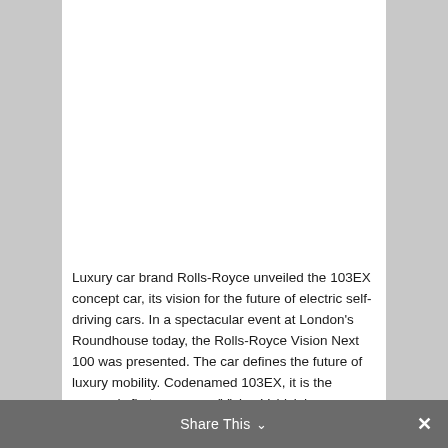[Figure (photo): Large white blank image area at top of white card, representing a photo placeholder]
Luxury car brand Rolls-Royce unveiled the 103EX concept car, its vision for the future of electric self-driving cars. In a spectacular event at London's Roundhouse today, the Rolls-Royce Vision Next 100 was presented. The car defines the future of luxury mobility. Codenamed 103EX, it is the marque's first-ever pure 'Vision Vehicle'.
Share This ∨  ✕